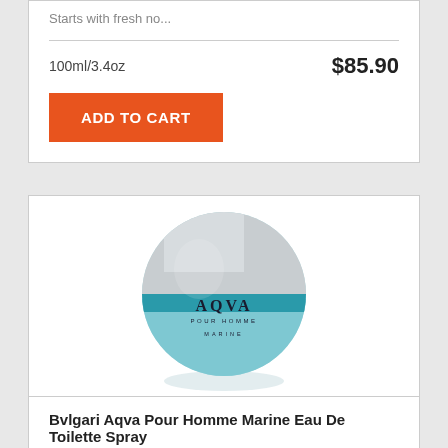Starts with fresh no...
100ml/3.4oz
$85.90
ADD TO CART
[Figure (photo): Bvlgari Aqva Pour Homme Marine round spherical perfume bottle with teal/aqua blue glass body and silver cap, displaying text AQVA POUR HOMME MARINE on the bottle]
Bvlgari Aqva Pour Homme Marine Eau De Toilette Spray